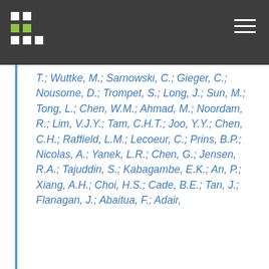T.; Wuttke, M.; Sarnowski, C.; Gieger, C.; Nousome, D.; Trompet, S.; Long, J.; Sun, M.; Tong, L.; Chen, W.M.; Ahmad, M.; Noordam, R.; Lim, V.J.Y.; Tam, C.H.T.; Joo, Y.Y.; Chen, C.H.; Raffield, L.M.; Lecoeur, C.; Prins, B.P.; Nicolas, A.; Yanek, L.R.; Chen, G.; Jensen, R.A.; Tajuddin, S.; Kabagambe, E.K.; An, P.; Xiang, A.H.; Choi, H.S.; Cade, B.E.; Tan, J.; Flanagan, J.; Abaitua, F.; Adair,